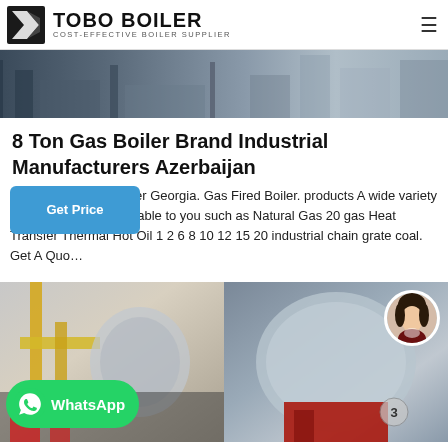TOBO BOILER — COST-EFFECTIVE BOILER SUPPLIER
[Figure (photo): Industrial boiler machinery factory floor photo — header hero image]
8 Ton Gas Boiler Brand Industrial Manufacturers Azerbaijan
Coal Condensing Boiler Georgia. Gas Fired Boiler. products A wide variety of 20 options are available to you such as Natural Gas 20 gas Heat Transfer Thermal Hot Oil 1 2 6 8 10 12 15 20 industrial chain grate coal. Get A Quo…
[Figure (photo): Two side-by-side industrial boiler images. Left: factory with yellow pipes and boiler equipment. Right: large cylindrical boiler tank with red industrial equipment. WhatsApp contact badge overlay on left image. Female avatar portrait in circle overlay on right image.]